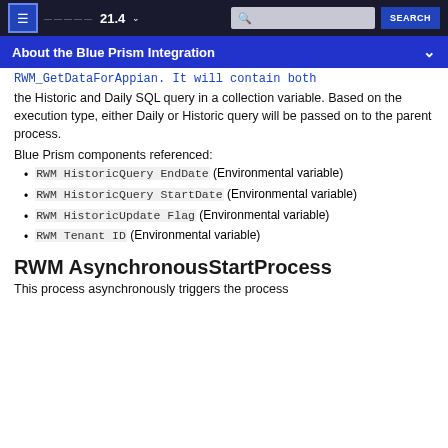≡  ···  21.4 ∨   [search]  SEARCH
About the Blue Prism Integration
RWM_GetDataForAppian. It will contain both the Historic and Daily SQL query in a collection variable. Based on the execution type, either Daily or Historic query will be passed on to the parent process.
Blue Prism components referenced:
RWM HistoricQuery EndDate (Environmental variable)
RWM HistoricQuery StartDate (Environmental variable)
RWM HistoricUpdate Flag (Environmental variable)
RWM Tenant ID (Environmental variable)
RWM AsynchronousStartProcess
This process asynchronously triggers the process